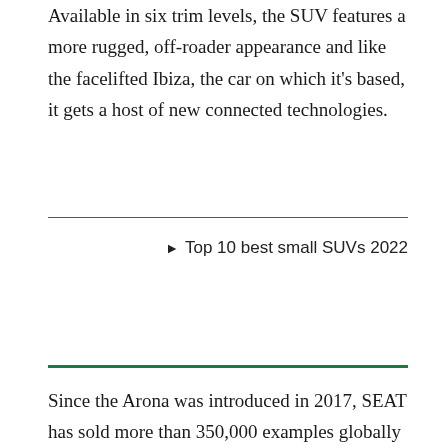Available in six trim levels, the SUV features a more rugged, off-roader appearance and like the facelifted Ibiza, the car on which it's based, it gets a host of new connected technologies.
▶ Top 10 best small SUVs 2022
Since the Arona was introduced in 2017, SEAT has sold more than 350,000 examples globally and the brand's